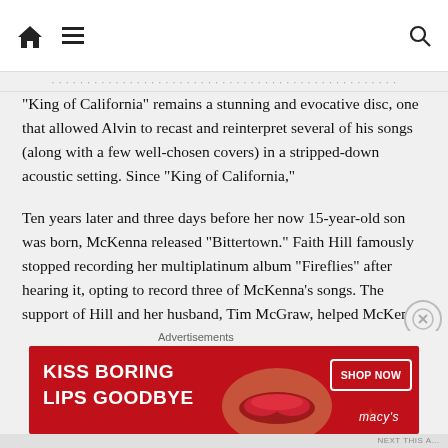Navigation bar with home, menu, and search icons
“King of California” remains a stunning and evocative disc, one that allowed Alvin to recast and reinterpret several of his songs (along with a few well-chosen covers) in a stripped-down acoustic setting. Since “King of California,”
Ten years later and three days before her now 15-year-old son was born, McKenna released “Bittertown.” Faith Hill famously stopped recording her multiplatinum album “Fireflies” after hearing it, opting to record three of McKenna’s songs. The support of Hill and her husband, Tim McGraw, helped McKenna become one of the most in-demand songwriters in Nashville.
Here is a brief look at some of the stories behind both albums,
Advertisements
[Figure (photo): Advertisement banner: red background with woman's lips. Text reads 'KISS BORING LIPS GOODBYE' on left, 'SHOP NOW' button and Macy's star logo on right.]